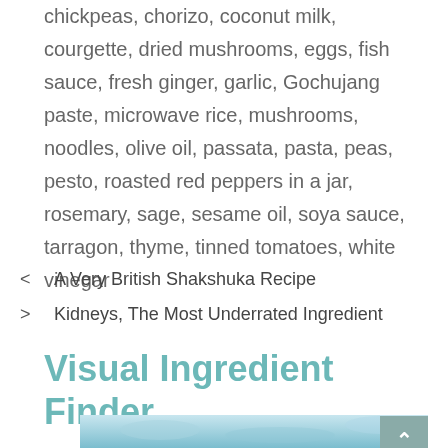chickpeas, chorizo, coconut milk, courgette, dried mushrooms, eggs, fish sauce, fresh ginger, garlic, Gochujang paste, microwave rice, mushrooms, noodles, olive oil, passata, pasta, peas, pesto, roasted red peppers in a jar, rosemary, sage, sesame oil, soya sauce, tarragon, thyme, tinned tomatoes, white vinegar
< A Very British Shakshuka Recipe
> Kidneys, The Most Underrated Ingredient
Visual Ingredient Finder
[Figure (photo): Partial view of a food-related image with a light blue/teal background, partially visible at the bottom of the page. A scroll-to-top button is overlaid on the right side.]